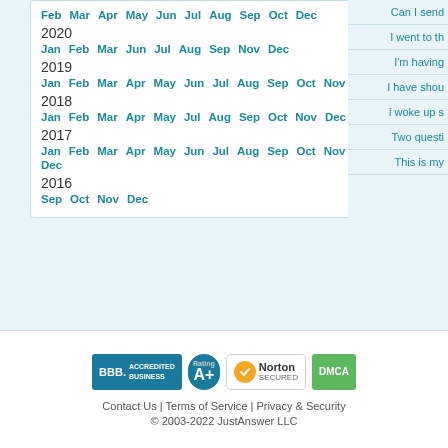Feb Mar Apr May Jun Jul Aug Sep Oct Dec
2020
Jan Feb Mar Jun Jul Aug Sep Nov Dec
2019
Jan Feb Mar Apr May Jun Jul Aug Sep Oct Nov
2018
Jan Feb Mar Apr May Jul Aug Sep Oct Nov Dec
2017
Jan Feb Mar Apr May Jun Jul Aug Sep Oct Nov Dec
2016
Sep Oct Nov Dec
Can I send
I went to th
I'm having
I have shou
i woke up s
Two questi
This is my
[Figure (logo): BBB Accredited Business badge with A+ rating]
[Figure (logo): Norton Secured badge]
[Figure (logo): DMCA badge]
Contact Us | Terms of Service | Privacy & Security
© 2003-2022 JustAnswer LLC